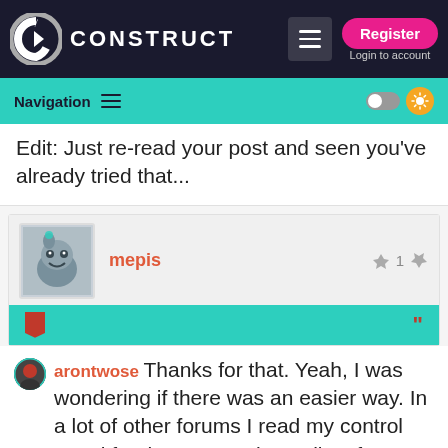CONSTRUCT — Register / Login to account
Navigation
Edit: Just re-read your post and seen you've already tried that...
mepis  👍 1 👎
arontwose  Thanks for that. Yeah, I was wondering if there was an easier way. In a lot of other forums I read my control panel for the account has a list of subscribed threads. It makes life a lot easier to follow conversations. I was wondering if there was something similar. It looks like the forum software has something like that. I just didn't know if I read the documentation and